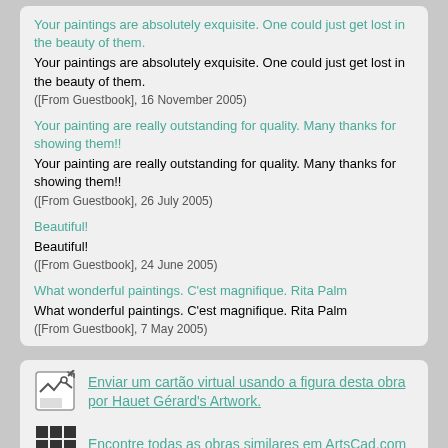Your paintings are absolutely exquisite. One could just get lost in the beauty of them. (teal heading + black repeat + source)
Your painting are really outstanding for quality. Many thanks for showing them!!
Beautiful!
What wonderful paintings. C'est magnifique. Rita Palm
Enviar um cartão virtual usando a figura desta obra por Hauet Gérard's Artwork.
Encontre todas as obras similares em ArtsCad.com
Todas as artes relacionadas ao mesmo tópico (animais) em ArtsCad.com
Todas as estilos da obra com idafigural e com como...